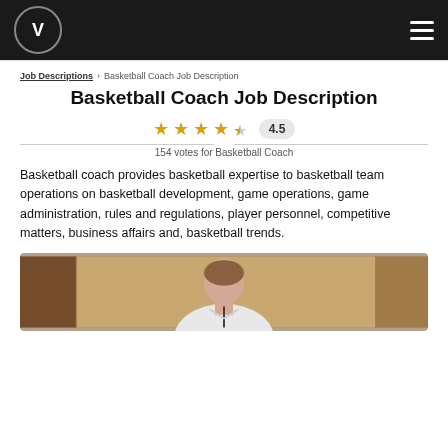V [logo] [hamburger menu]
Job Descriptions > Basketball Coach Job Description
Basketball Coach Job Description
[Figure (other): Star rating: 4.5 out of 5 stars with rating badge showing 4.5]
154 votes for Basketball Coach
Basketball coach provides basketball expertise to basketball team operations on basketball development, game operations, game administration, rules and regulations, player personnel, competitive matters, business affairs and, basketball trends.
[Figure (photo): Photo of a basketball coach — a man in a white polo shirt with a lanyard, photographed in what appears to be a gym or sports facility]